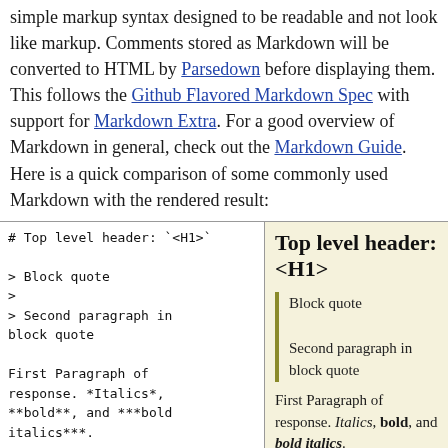simple markup syntax designed to be readable and not look like markup. Comments stored as Markdown will be converted to HTML by Parsedown before displaying them. This follows the Github Flavored Markdown Spec with support for Markdown Extra. For a good overview of Markdown in general, check out the Markdown Guide. Here is a quick comparison of some commonly used Markdown with the rendered result:
[Figure (other): Two-column comparison table showing Markdown syntax on the left (monospace code) and rendered HTML output on the right. Left column shows: # Top level header: `<H1>`, block quote syntax, paragraph with *Italics*, **bold**, ***bold italics***, and second paragraph with HTML code. Right column shows rendered output: bold H1 heading, block quotes with yellow-green left border, rendered italic/bold text, and second paragraph.]